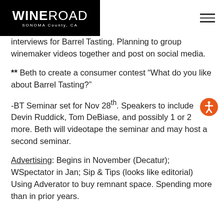WINE ROAD SONOMA County, CA
interviews for Barrel Tasting. Planning to group winemaker videos together and post on social media.
** Beth to create a consumer contest “What do you like about Barrel Tasting?”
-BT Seminar set for Nov 28th. Speakers to include Devin Ruddick, Tom DeBiase, and possibly 1 or 2 more. Beth will videotape the seminar and may host a second seminar.
Advertising: Begins in November (Decatur); WSpectator in Jan; Sip & Tips (looks like editorial) Using Adverator to buy remnant space. Spending more than in prior years.